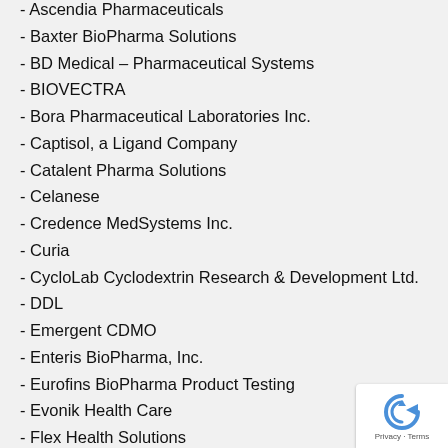- Ascendia Pharmaceuticals (partial, cut off at top)
- Baxter BioPharma Solutions
- BD Medical – Pharmaceutical Systems
- BIOVECTRA
- Bora Pharmaceutical Laboratories Inc.
- Captisol, a Ligand Company
- Catalent Pharma Solutions
- Celanese
- Credence MedSystems Inc.
- Curia
- CycloLab Cyclodextrin Research & Development Ltd.
- DDL
- Emergent CDMO
- Enteris BioPharma, Inc.
- Eurofins BioPharma Product Testing
- Evonik Health Care
- Flex Health Solutions
- Gattefosse
- Genezen
- (partially visible at bottom)